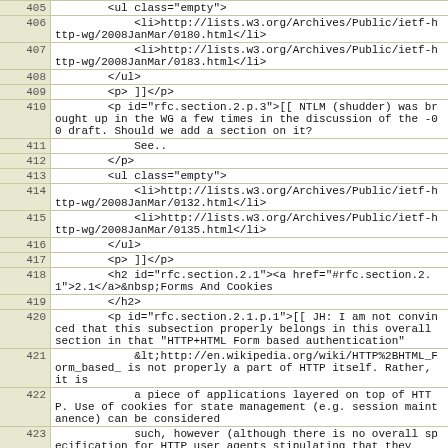| line | code |
| --- | --- |
| 405 |         <ul class="empty"> |
| 406 |             <li>http://lists.w3.org/Archives/Public/ietf-http-wg/2008JanMar/0180.html</li> |
| 407 |             <li>http://lists.w3.org/Archives/Public/ietf-http-wg/2008JanMar/0183.html</li> |
| 408 |         </ul> |
| 409 |         <p> ]]</p> |
| 410 |         <p id="rfc.section.2.p.3">[[ NTLM (shudder) was brought up in the WG a few times in the discussion of the -00 draft. Should we add a section on it? |
| 411 |             See.. |
| 412 |         </p> |
| 413 |         <ul class="empty"> |
| 414 |             <li>http://lists.w3.org/Archives/Public/ietf-http-wg/2008JanMar/0132.html</li> |
| 415 |             <li>http://lists.w3.org/Archives/Public/ietf-http-wg/2008JanMar/0135.html</li> |
| 416 |         </ul> |
| 417 |         <p> ]]</p> |
| 418 |         <h2 id="rfc.section.2.1"><a href="#rfc.section.2.1">2.1</a>&nbsp;Forms And Cookies |
| 419 |         </h2> |
| 420 |         <p id="rfc.section.2.1.p.1">[[ JH: I am not convinced that this subsection properly belongs in this overall section in that "HTTP+HTML Form based authentication" |
| 421 |             &lt;http://en.wikipedia.org/wiki/HTTP%2BHTML_Form_based_ is not properly a part of HTTP itself. Rather, it is |
| 422 |             a piece of applications layered on top of HTTP. Use of cookies for state management (e.g. session maintanence) can be considered |
| 423 |             such, however (although there is no overall specification for HTTP user agents stipulating that they |